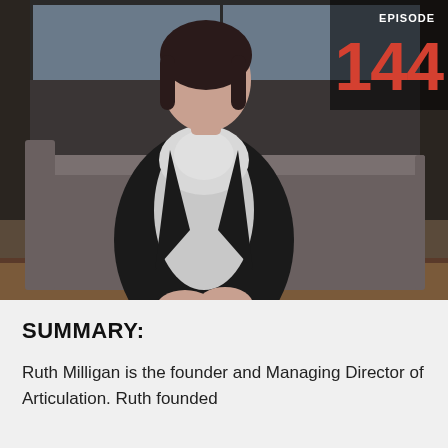[Figure (photo): A woman in black jacket and patterned scarf sitting on a dark couch/sofa in an interior setting. Episode 144 label visible in top right corner.]
SUMMARY:
Ruth Milligan is the founder and Managing Director of Articulation. Ruth founded